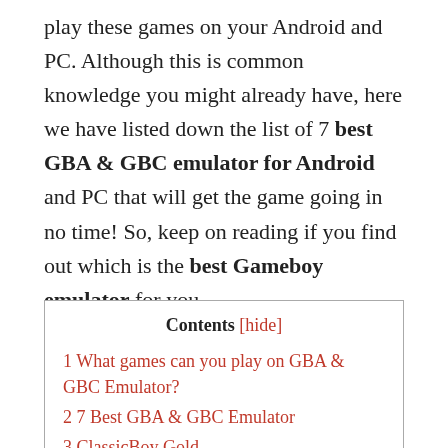play these games on your Android and PC. Although this is common knowledge you might already have, here we have listed down the list of 7 best GBA & GBC emulator for Android and PC that will get the game going in no time! So, keep on reading if you find out which is the best Gameboy emulator for you.
| Contents [hide] |
| 1 What games can you play on GBA & GBC Emulator? |
| 2 7 Best GBA & GBC Emulator |
| 3 ClassicBoy Gold |